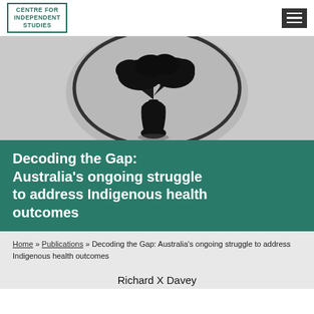[Figure (logo): Centre for Independent Studies logo in green border box with text INDEPENDENT STUDIES]
[Figure (illustration): Large circular black and white illustration of an Australian boab/baobab tree silhouette against a grey background]
Decoding the Gap: Australia’s ongoing struggle to address Indigenous health outcomes
Home » Publications » Decoding the Gap: Australia’s ongoing struggle to address Indigenous health outcomes
Richard X Davey